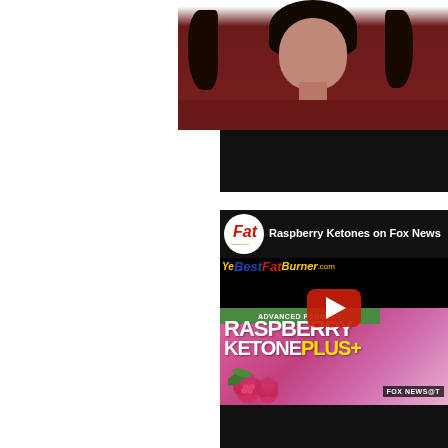[Figure (photo): Top portion of a woman with dark hair wearing a dark red/maroon top, cropped at the shoulders, white background on the left side]
[Figure (screenshot): YouTube video thumbnail titled 'Raspberry Ketones on Fox News' from a channel with a 'Fat' logo and YourBestFatBurner.com watermark. Shows Raspberry Ketone Plus supplement product packaging with raspberries, a YouTube play button overlay, and FOX NEWS branding.]